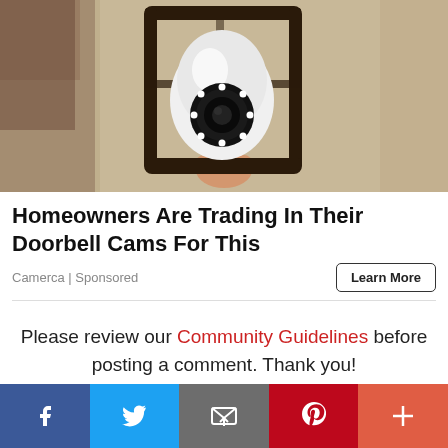[Figure (photo): A security camera disguised as a light bulb installed inside a black metal outdoor lantern fixture mounted on a textured stucco wall]
Homeowners Are Trading In Their Doorbell Cams For This
Camerca | Sponsored
Learn More
Please review our Community Guidelines before posting a comment. Thank you!
[Figure (infographic): Social sharing bar with Facebook, Twitter, Email, Pinterest, and More buttons]